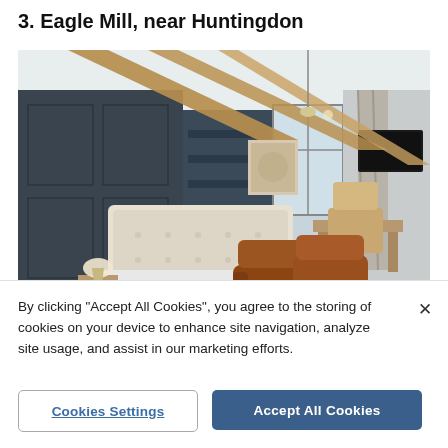3. Eagle Mill, near Huntingdon
[Figure (photo): Interior of a luxury hotel room with vaulted ceiling with exposed wooden beams, large upholstered bed, brown leather armchairs, hardwood floor, desk, wall-mounted TV, wall paneling, and a freestanding bathtub in the foreground.]
By clicking “Accept All Cookies”, you agree to the storing of cookies on your device to enhance site navigation, analyze site usage, and assist in our marketing efforts.